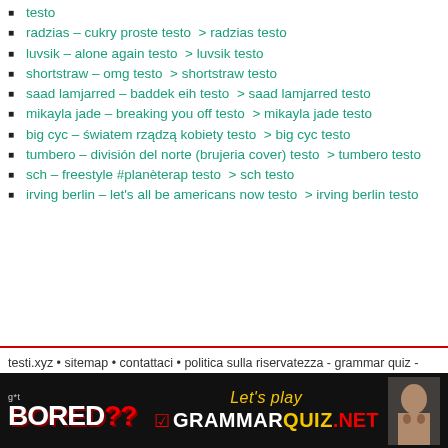testo
radzias – cukry proste testo  > radzias testo
luvsik – alone again testo  > luvsik testo
shortstraw – omg testo  > shortstraw testo
saad lamjarred – baddek eih testo  > saad lamjarred testo
mikayla jade – breaking you off testo  > mikayla jade testo
big cyc – światem rządzą kobiety testo  > big cyc testo
tumbero – división del norte (brujeria cover) testo  > tumbero testo
sch – freestyle #planèterap testo  > sch testo
irving berlin – let's all be americans now testo  > irving berlin testo
testi.xyz • sitemap • contattaci • politica sulla riservatezza - grammar quiz - khalimah.com
[Figure (infographic): Advertisement banner for GrammarQuiz.NET with 'Got Bored??' text on dark background and a person's face on the right.]